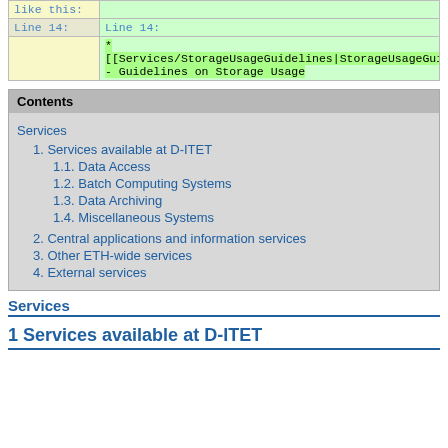|  |  |
| --- | --- |
| like this: |  |
| Line 14: | Line 14: |
|  | * [[Services/StorageUsageGuidelines|StorageUsageGuidel... - Guidelines on Storage Usage |
Contents
Services
1. Services available at D-ITET
1.1. Data Access
1.2. Batch Computing Systems
1.3. Data Archiving
1.4. Miscellaneous Systems
2. Central applications and information services
3. Other ETH-wide services
4. External services
Services
1 Services available at D-ITET